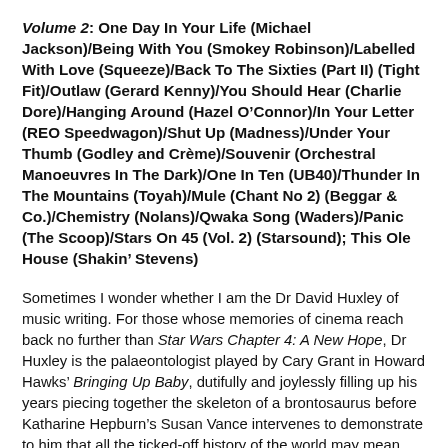Volume 2: One Day In Your Life (Michael Jackson)/Being With You (Smokey Robinson)/Labelled With Love (Squeeze)/Back To The Sixties (Part II) (Tight Fit)/Outlaw (Gerard Kenny)/You Should Hear (Charlie Dore)/Hanging Around (Hazel O'Connor)/In Your Letter (REO Speedwagon)/Shut Up (Madness)/Under Your Thumb (Godley and Crème)/Souvenir (Orchestral Manoeuvres In The Dark)/One In Ten (UB40)/Thunder In The Mountains (Toyah)/Mule (Chant No 2) (Beggar & Co.)/Chemistry (Nolans)/Qwaka Song (Waders)/Panic (The Scoop)/Stars On 45 (Vol. 2) (Starsound); This Ole House (Shakin' Stevens)
Sometimes I wonder whether I am the Dr David Huxley of music writing. For those whose memories of cinema reach back no further than Star Wars Chapter 4: A New Hope, Dr Huxley is the palaeontologist played by Cary Grant in Howard Hawks' Bringing Up Baby, dutifully and joylessly filling up his years piecing together the skeleton of a brontosaurus before Katharine Hepburn's Susan Vance intervenes to demonstrate to him that all the ticked-off history of the world may mean nothing next to the basic human